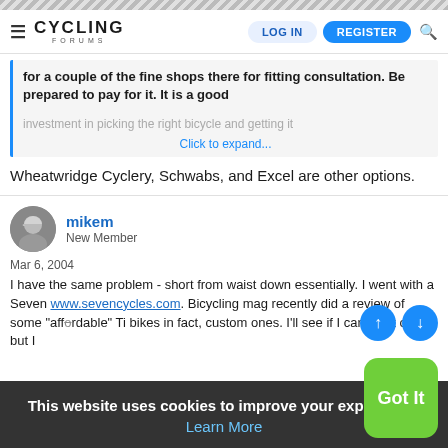Cycling Forums — LOG IN | REGISTER
for a couple of the fine shops there for fitting consultation. Be prepared to pay for it. It is a good investment in picking the right bicycle and getting it
Click to expand...
Wheatwridge Cyclery, Schwabs, and Excel are other options.
mikem
New Member
Mar 6, 2004
I have the same problem - short from waist down essentially. I went with a Seven www.sevencycles.com. Bicycling mag recently did a review of some "affordable" Ti bikes in fact, custom ones. I'll see if I can dig it out - but I
This website uses cookies to improve your experience. Learn More